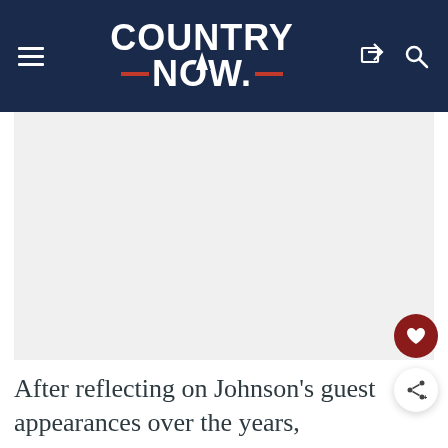COUNTRY NOW
[Figure (photo): Light gray placeholder image area below the header]
After reflecting on Johnson's guest appearances over the years, Anderson